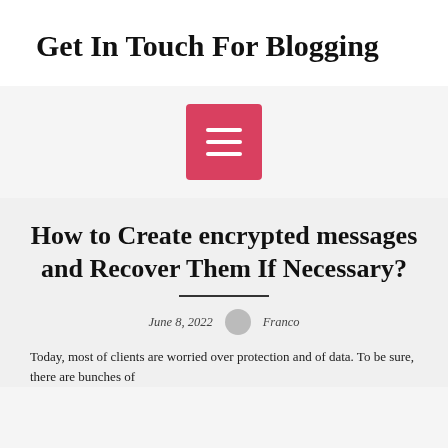Get In Touch For Blogging
[Figure (other): Red hamburger menu button with three white horizontal lines]
How to Create encrypted messages and Recover Them If Necessary?
June 8, 2022   Franco
Today, most of clients are worried over protection and of data. To be sure, there are bunches of